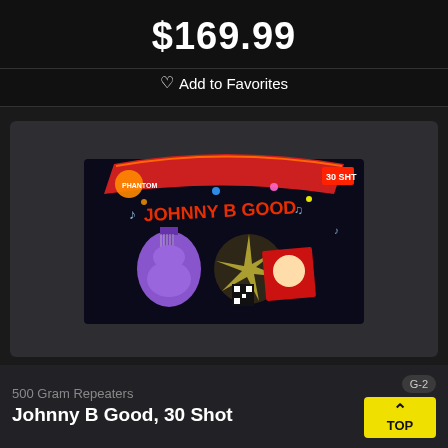$169.99
♡ Add to Favorites
[Figure (photo): Product photo of Johnny B Good 30 Shot 500 Gram Repeater fireworks box with guitar and colorful design]
500 Gram Repeaters
Johnny B Good, 30 Shot
G-2
TOP